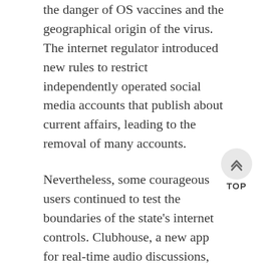the danger of OS vaccines and the geographical origin of the virus. The internet regulator introduced new rules to restrict independently operated social media accounts that publish about current affairs, leading to the removal of many accounts.
Nevertheless, some courageous users continued to test the boundaries of the state's internet controls. Clubhouse, a new app for real-time audio discussions, provided an unprecedented space for users to discuss sensitive issues with people outside of mainland China, until it was blocked in February 2021. A final post on the Weibo app by COVID-19 whistleblower Dr. Li Wenliang has served as a place for frustrated citizens to express themselves since his death in February 2020. And women's rights supporters pushed back against misogynistic cyberbullying and censorship by tech companies.